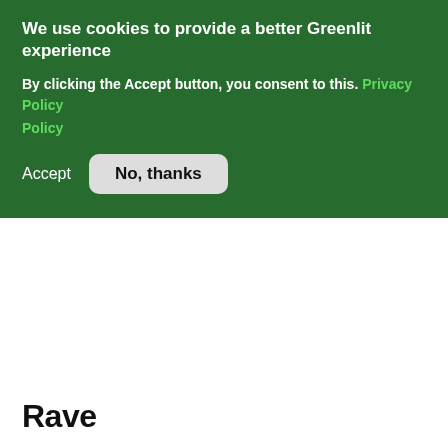We use cookies to provide a better Greenlit experience
By clicking the Accept button, you consent to this. Privacy Policy
Accept
No, thanks
Rave
Genre
Drama
Seeking funding for
Production
Scope
Short
Campaign type
All or Nothing
[Figure (photo): Blurry blue and green rave scene with a play button overlay]